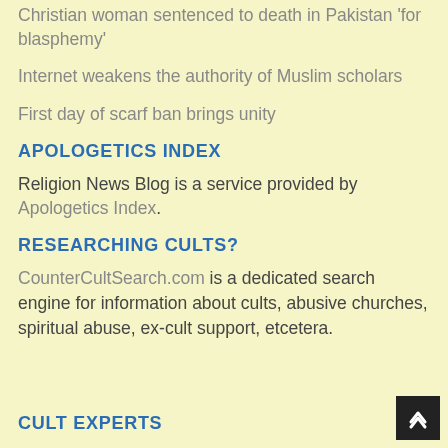Christian woman sentenced to death in Pakistan 'for blasphemy'
Internet weakens the authority of Muslim scholars
First day of scarf ban brings unity
APOLOGETICS INDEX
Religion News Blog is a service provided by Apologetics Index.
RESEARCHING CULTS?
CounterCultSearch.com is a dedicated search engine for information about cults, abusive churches, spiritual abuse, ex-cult support, etcetera.
CULT EXPERTS